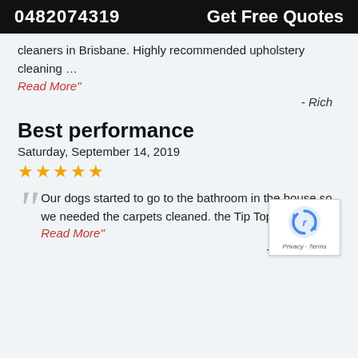0482074319   Get Free Quotes
cleaners in Brisbane. Highly recommended upholstery cleaning …
Read More"
- Rich
Best performance
Saturday, September 14, 2019
★★★★★
Our dogs started to go to the bathroom in the house so we needed the carpets cleaned. the Tip Top Clean T…
Read More"
- Eden White